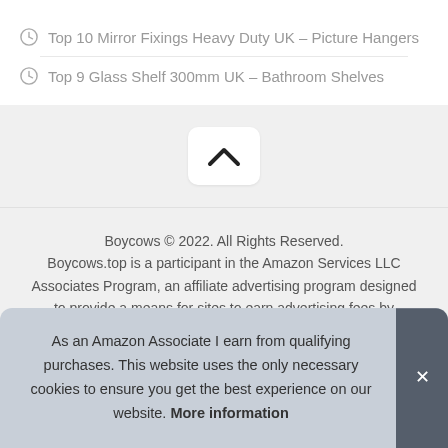Top 10 Mirror Fixings Heavy Duty UK – Picture Hangers
Top 9 Glass Shelf 300mm UK – Bathroom Shelves
[Figure (other): Back to top button with chevron up arrow icon]
Boycows © 2022. All Rights Reserved. Boycows.top is a participant in the Amazon Services LLC Associates Program, an affiliate advertising program designed to provide a means for sites to earn advertising fees by advertising and linking to Amazon.co.uk
As an Amazon Associate I earn from qualifying purchases. This website uses the only necessary cookies to ensure you get the best experience on our website. More information